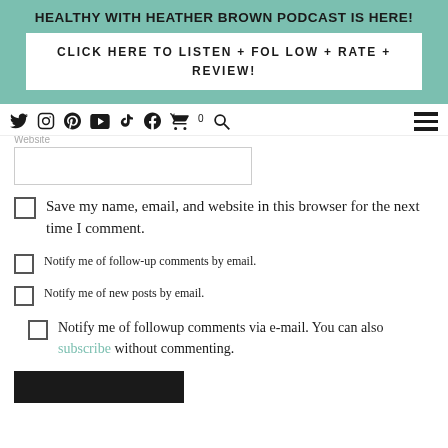HEALTHY WITH HEATHER BROWN PODCAST IS HERE!
CLICK HERE TO LISTEN + FOLLOW + RATE + REVIEW!
[Figure (infographic): Navigation bar with social media icons: Twitter, Instagram, Pinterest, YouTube, TikTok, Facebook, Cart, Search, and hamburger menu]
Website (input field)
Save my name, email, and website in this browser for the next time I comment.
Notify me of follow-up comments by email.
Notify me of new posts by email.
Notify me of followup comments via e-mail. You can also subscribe without commenting.